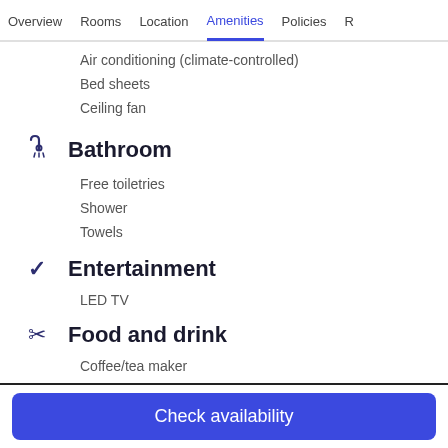Overview  Rooms  Location  Amenities  Policies  R
Air conditioning (climate-controlled)
Bed sheets
Ceiling fan
Bathroom
Free toiletries
Shower
Towels
Entertainment
LED TV
Food and drink
Coffee/tea maker
Electric kettle
Check availability